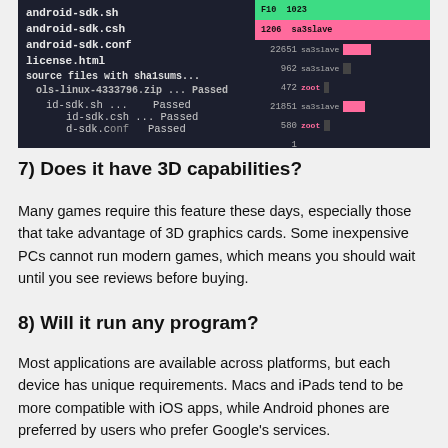[Figure (screenshot): Terminal/command-line screenshot showing Android SDK file listings (android-sdk.sh, android-sdk.csh, android-sdk.conf, license.html) and checksum verification with 'Passed' results, alongside a dark data table with pink and green highlighted rows showing numeric values.]
7) Does it have 3D capabilities?
Many games require this feature these days, especially those that take advantage of 3D graphics cards. Some inexpensive PCs cannot run modern games, which means you should wait until you see reviews before buying.
8) Will it run any program?
Most applications are available across platforms, but each device has unique requirements. Macs and iPads tend to be more compatible with iOS apps, while Android phones are preferred by users who prefer Google's services.